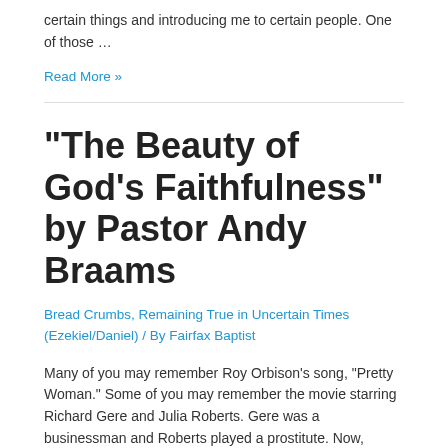certain things and introducing me to certain people. One of those …
Read More »
“The Beauty of God’s Faithfulness” by Pastor Andy Braams
Bread Crumbs, Remaining True in Uncertain Times (Ezekiel/Daniel) / By Fairfax Baptist
Many of you may remember Roy Orbison’s song, “Pretty Woman.” Some of you may remember the movie starring Richard Gere and Julia Roberts. Gere was a businessman and Roberts played a prostitute. Now, Gere’s character (Edward